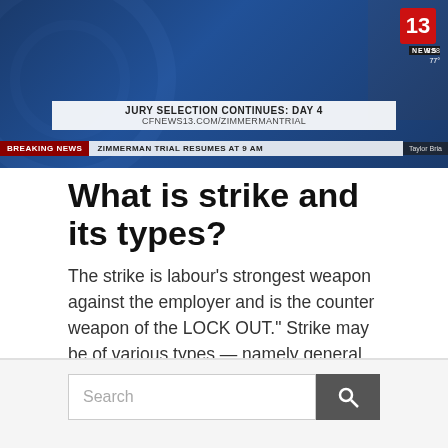[Figure (screenshot): TV news broadcast screenshot showing jury selection continues day 4 for Zimmerman trial, CFNEWS13 channel 13 news, with breaking news banner about Zimmerman trial resuming at 9am]
What is strike and its types?
The strike is labour’s strongest weapon against the employer and is the counter weapon of the LOCK OUT.” Strike may be of various types — namely general strike, stay in sit down, tools down strike, pen down strike, hunger strike, sympathetic strike.
Helpful info
Search